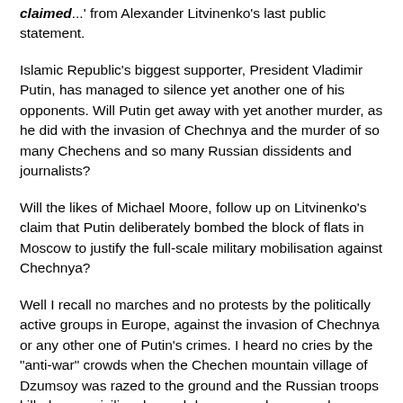claimed...' from Alexander Litvinenko's last public statement.
Islamic Republic's biggest supporter, President Vladimir Putin, has managed to silence yet another one of his opponents. Will Putin get away with yet another murder, as he did with the invasion of Chechnya and the murder of so many Chechens and so many Russian dissidents and journalists?
Will the likes of Michael Moore, follow up on Litvinenko's claim that Putin deliberately bombed the block of flats in Moscow to justify the full-scale military mobilisation against Chechnya?
Well I recall no marches and no protests by the politically active groups in Europe, against the invasion of Chechnya or any other one of Putin's crimes. I heard no cries by the "anti-war" crowds when the Chechen mountain village of Dzumsoy was razed to the ground and the Russian troops killed every civilian, burned down every house and even spared no cattle.